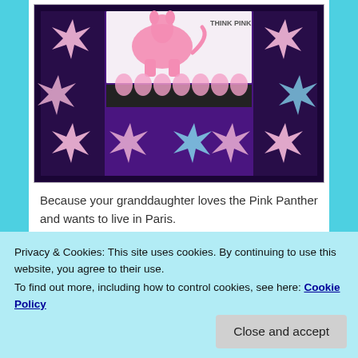[Figure (photo): A Pink Panther themed quilt hanging up, with pink and purple star/snowflake patterns on a dark background, and 'THINK PINK' text visible in the center white panel.]
Because your granddaughter loves the Pink Panther and wants to live in Paris.
Always support the dreams of young people! They will be
Privacy & Cookies: This site uses cookies. By continuing to use this website, you agree to their use.
To find out more, including how to control cookies, see here: Cookie Policy